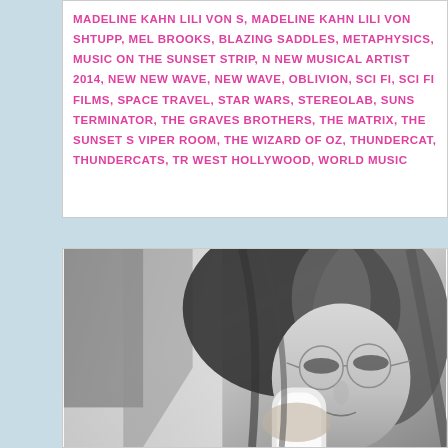MADELINE KAHN LILI VON S, MADELINE KAHN LILI VON SHTUPP, MEL BROOKS, BLAZING SADDLES, METAPHYSICS, MUSIC ON THE SUNSET STRIP, NEW MUSICAL ARTIST 2014, NEW NEW WAVE, NEW WAVE, OBLIVION, SCI FI, SCI FI FILMS, SPACE TRAVEL, STAR WARS, STEREOLAB, SUNSET, TERMINATOR, THE GRAVES BROTHERS, THE MATRIX, THE SUNSET STRIP, VIPER ROOM, THE WIZARD OF OZ, THUNDERCAT, THUNDERCATS, WEST HOLLYWOOD, WORLD MUSIC
[Figure (photo): Black and white photograph of a woman with long dark hair wearing round wire-frame glasses, looking down, holding what appears to be a white phone receiver to her ear]